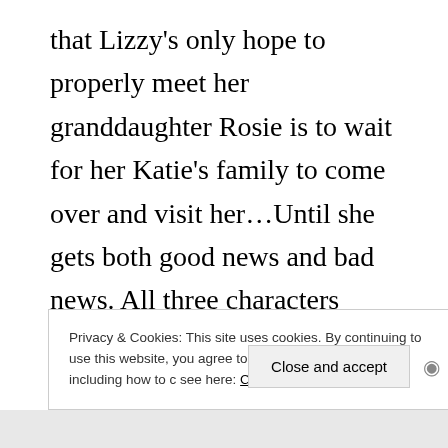that Lizzy's only hope to properly meet her granddaughter Rosie is to wait for her Katie's family to come over and visit her…Until she gets both good news and bad news. All three characters were charming and realistic, flawed and decent at the same time. They are a kind of people you would like to have as neighbours or even friends.
Privacy & Cookies: This site uses cookies. By continuing to use this website, you agree to their use. To find out more, including how to c see here: Cookie Policy